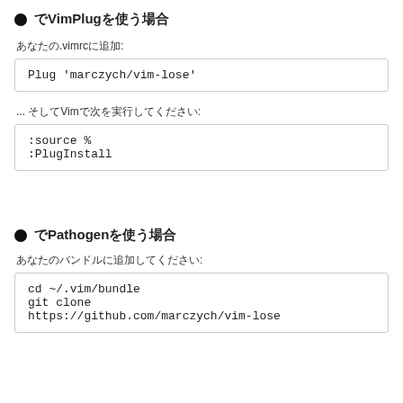でVimPlugを使う場合
あなたの.vimrcに追加:
Plug 'marczych/vim-lose'
... そしてVimで次を実行してください:
:source %
:PlugInstall
でPathogenを使う場合
あなたのバンドルに追加してください:
cd ~/.vim/bundle
git clone
https://github.com/marczych/vim-lose